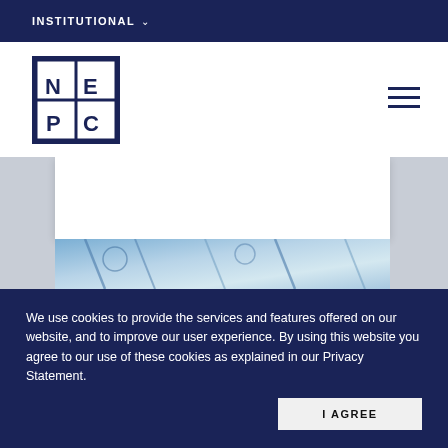INSTITUTIONAL ˅
[Figure (logo): NEPC logo - a square divided into four quadrants with letters N, E, P, C in a dark navy blue box]
[Figure (photo): A white card/panel above a photo of laboratory or scientific equipment with blue tones]
We use cookies to provide the services and features offered on our website, and to improve our user experience. By using this website you agree to our use of these cookies as explained in our Privacy Statement.